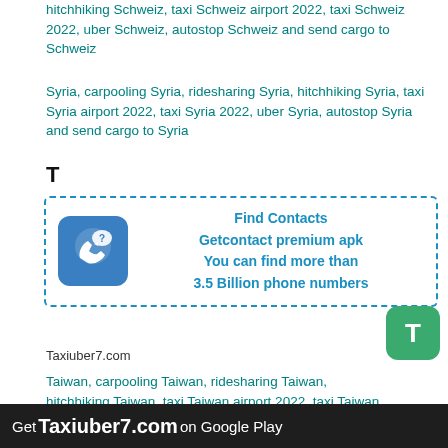hitchhiking Schweiz, taxi Schweiz airport 2022, taxi Schweiz 2022, uber Schweiz, autostop Schweiz and send cargo to Schweiz
Syria, carpooling Syria, ridesharing Syria, hitchhiking Syria, taxi Syria airport 2022, taxi Syria 2022, uber Syria, autostop Syria and send cargo to Syria
T
[Figure (infographic): Advertisement box with dashed teal border. Left: blue phone/chat icon. Right: bold teal text reading 'Find Contacts Getcontact premium apk You can find more than 3.5 Billion phone numbers']
Taxiuber7.com
Taiwan, carpooling Taiwan, ridesharing Taiwan, hitchhiking Taiwan, taxi Taiwan airport 2022, taxi Taiwan 2022, uber Taiwan, autostop Taiwan and send cargo to Taiwan
Tajikistan, carpooling Tajikistan, ridesharing Tajikistan, hitchhiking Tajikistan, taxi Tajikistan airport 2022, taxi Tajikistan 2022, uber Tajikistan, autostop Tajikistan and send cargo to Tajikistan
Get Taxiuber7.com on Google Play